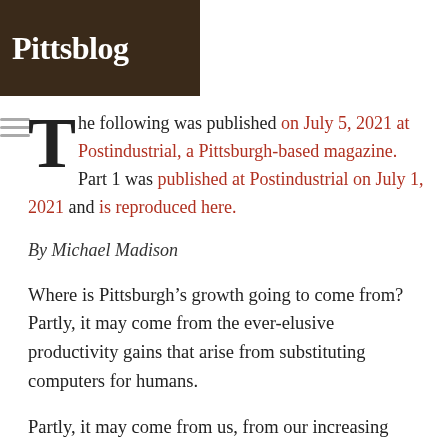[Figure (logo): Pittsblog website header logo with dark brown background and white text reading 'Pittsblog']
The following was published on July 5, 2021 at Postindustrial, a Pittsburgh-based magazine. Part 1 was published at Postindustrial on July 1, 2021 and is reproduced here.
By Michael Madison
Where is Pittsburgh’s growth going to come from?  Partly, it may come from the ever-elusive productivity gains that arise from substituting computers for humans.
Partly, it may come from us, from our increasing